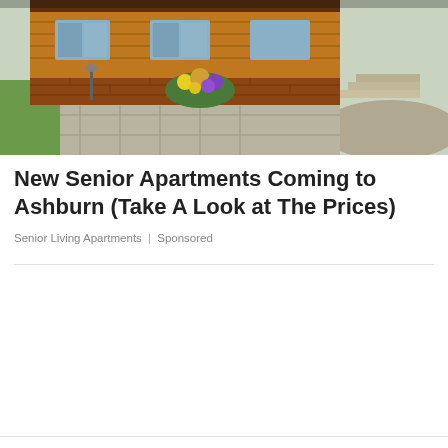[Figure (photo): Exterior photo of a wooden/log cabin style senior apartment building with brick base, flower garden, stone patio, and steps leading to entrance]
New Senior Apartments Coming to Ashburn (Take A Look at The Prices)
Senior Living Apartments | Sponsored